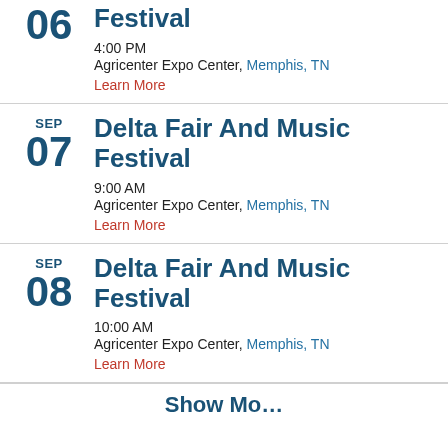06 Festival
4:00 PM
Agricenter Expo Center, Memphis, TN
Learn More
SEP 07 Delta Fair And Music Festival
9:00 AM
Agricenter Expo Center, Memphis, TN
Learn More
SEP 08 Delta Fair And Music Festival
10:00 AM
Agricenter Expo Center, Memphis, TN
Learn More
Show More